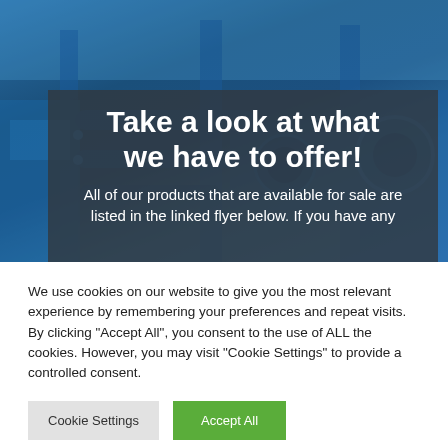[Figure (photo): Background photo of industrial blue machinery/pumps in a facility, with a dark semi-transparent overlay box containing white text]
Take a look at what we have to offer!
All of our products that are available for sale are listed in the linked flyer below. If you have any
We use cookies on our website to give you the most relevant experience by remembering your preferences and repeat visits. By clicking "Accept All", you consent to the use of ALL the cookies. However, you may visit "Cookie Settings" to provide a controlled consent.